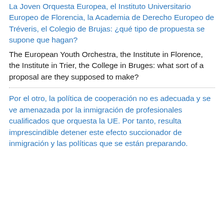La Joven Orquesta Europea, el Instituto Universitario Europeo de Florencia, la Academia de Derecho Europeo de Tréveris, el Colegio de Brujas: ¿qué tipo de propuesta se supone que hagan?
The European Youth Orchestra, the Institute in Florence, the Institute in Trier, the College in Bruges: what sort of a proposal are they supposed to make?
Por el otro, la política de cooperación no es adecuada y se ve amenazada por la inmigración de profesionales cualificados que orquesta la UE. Por tanto, resulta imprescindible detener este efecto succionador de inmigración y las políticas que se están preparando.